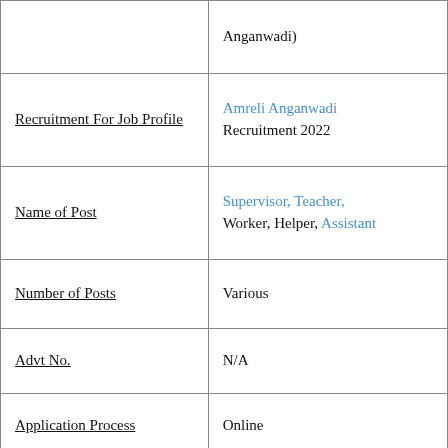|  | Anganwadi) |
| Recruitment For Job Profile | Amreli Anganwadi Recruitment 2022 |
| Name of Post | Supervisor, Teacher, Worker, Helper, Assistant |
| Number of Posts | Various |
| Advt No. | N/A |
| Application Process | Online |
| Last Date to Apply | Coming Soon |
| Job Location | Gujarat (India) |